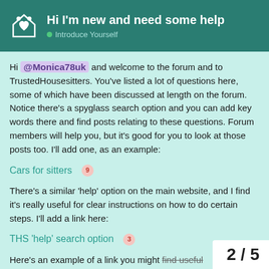Hi I'm new and need some help — Introduce Yourself
Hi @Monica78uk and welcome to the forum and to TrustedHousesitters. You've listed a lot of questions here, some of which have been discussed at length on the forum. Notice there's a spyglass search option and you can add key words there and find posts relating to these questions. Forum members will help you, but it's good for you to look at those posts too. I'll add one, as an example:
Cars for sitters 9
There's a similar 'help' option on the main website, and I find it's really useful for clear instructions on how to do certain steps. I'll add a link here:
THS 'help' search option 3
Here's an example of a link you might find useful from the website:
2 / 5